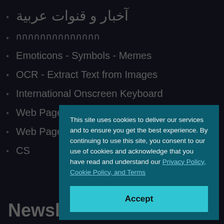آخبار و قنوات عربية
กกกกกกกกกกกกกก
Emoticons - Symbols - Memes
OCR - Extract Text from Images
International Onscreen Keyboard
Web Page to PDF
Web Page to Image
CS
PD
PD
Ima
PD
Lat
Mo
This site uses cookies to deliver our services and to ensure you get the best experience. By continuing to use this site, you consent to our use of cookies and acknowledge that you have read and understand our Privacy Policy, Cookie Policy, and Terms
Accept
Newsletter